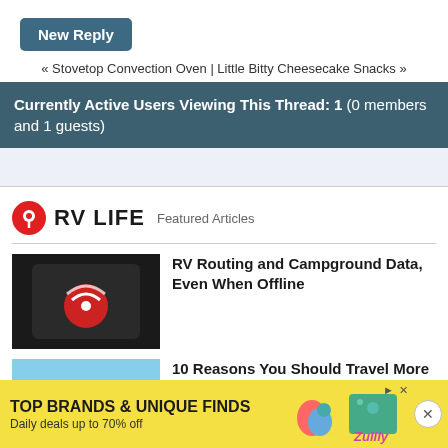New Reply
« Stovetop Convection Oven | Little Bitty Cheesecake Snacks »
Currently Active Users Viewing This Thread: 1 (0 members and 1 guests)
[Figure (screenshot): RV LIFE logo with location pin icon and 'Featured Articles' label]
[Figure (photo): Dark phone screen with red wifi/signal icon - article thumbnail for RV Routing app]
RV Routing and Campground Data, Even When Offline
[Figure (photo): Landscape thumbnail with trees and blue sky]
10 Reasons You Should Travel More In Your RV
[Figure (screenshot): Zulily advertisement banner: TOP BRANDS & UNIQUE FINDS - Daily deals up to 70% off]